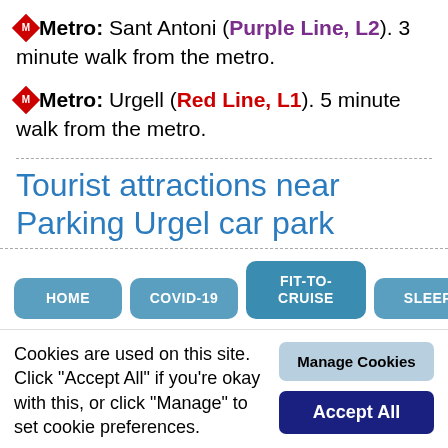Metro: Sant Antoni (Purple Line, L2). 3 minute walk from the metro.
Metro: Urgell (Red Line, L1). 5 minute walk from the metro.
Tourist attractions near Parking Urgel car park
[Figure (screenshot): Navigation bar with buttons: HOME, COVID-19, FIT-TO-CRUISE, SLEEP]
Cookies are used on this site. Click "Accept All" if you're okay with this, or click "Manage" to set cookie preferences.